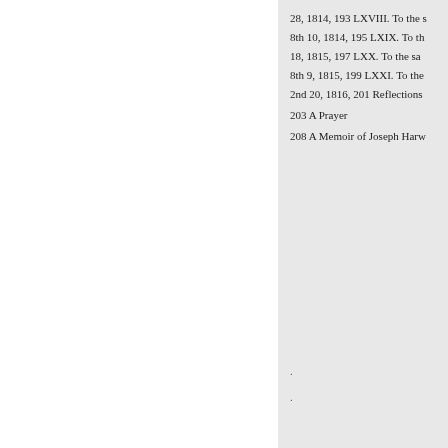28, 1814, 193 LXVIII. To the s
8th 10, 1814, 195 LXIX. To th
18, 1815, 197 LXX. To the sa
8th 9, 1815, 199 LXXI. To the
2nd 20, 1816, 201 Reflections
203 A Prayer
208 A Memoir of Joseph Harw
.
.
.
« Previous